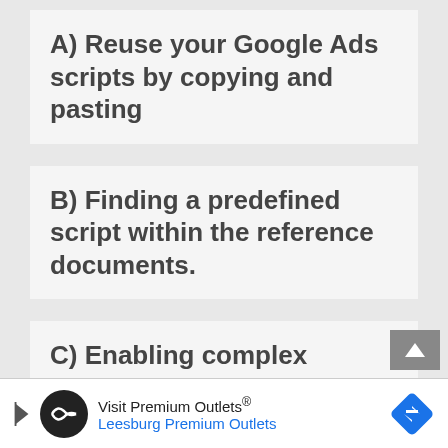A) Reuse your Google Ads scripts by copying and pasting
B) Finding a predefined script within the reference documents.
C) Enabling complex operations through